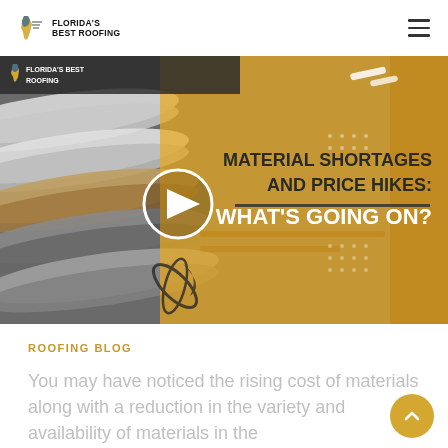Florida's Best Roofing — navigation bar with logo and hamburger menu
[Figure (screenshot): Video thumbnail for Florida's Best Roofing blog post titled 'Material Shortages and Price Hikes: What's Going On?' showing stacked roofing tiles on the left and golden overlay with bold text on the right, with a white play button in the center.]
ROOFING BLOG
You may have noticed the rising cost of materials along with a reduction in the variety and availability of materials in the